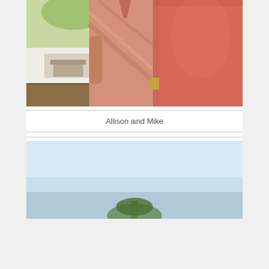[Figure (photo): Two people (Allison and Mike) standing together outdoors at a beach setting. One person is wearing a patterned pink/salmon short-sleeve shirt and the other is wearing a coral/salmon tank top. Palm trees and beach chairs visible in the background.]
Allison and Mike
[Figure (photo): Outdoor scene with a pale blue sky and what appears to be a palm tree or tropical vegetation at the bottom of the frame.]